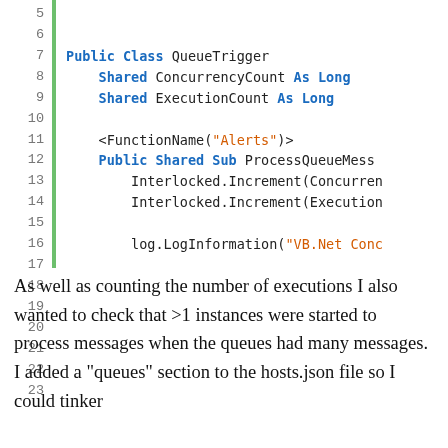[Figure (screenshot): Code snippet in VB.Net showing a QueueTrigger class with line numbers 5-23, highlighted syntax including keywords in bold blue, string literals in orange, and a comment in green.]
As well as counting the number of executions I also wanted to check that >1 instances were started to process messages when the queues had many messages. I added a "queues" section to the hosts.json file so I could tinker